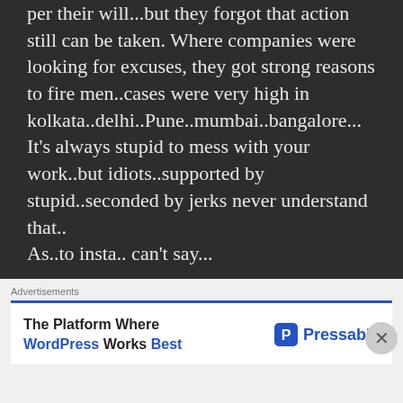per their will...but they forgot that action still can be taken. Where companies were looking for excuses, they got strong reasons to fire men..cases were very high in kolkata..delhi..Pune..mumbai..bangalore...
It's always stupid to mess with your work..but idiots..supported by stupid..seconded by jerks never understand that..
As..to insta.. can't say...
Advertisements
The Platform Where WordPress Works Best